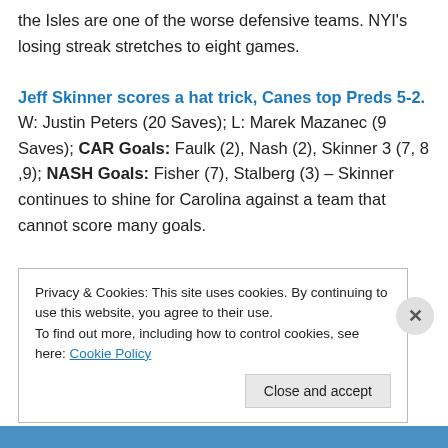the Isles are one of the worse defensive teams. NYI's losing streak stretches to eight games.
Jeff Skinner scores a hat trick, Canes top Preds 5-2. W: Justin Peters (20 Saves); L: Marek Mazanec (9 Saves); CAR Goals: Faulk (2), Nash (2), Skinner 3 (7, 8 ,9); NASH Goals: Fisher (7), Stalberg (3) – Skinner continues to shine for Carolina against a team that cannot score many goals.
Privacy & Cookies: This site uses cookies. By continuing to use this website, you agree to their use. To find out more, including how to control cookies, see here: Cookie Policy